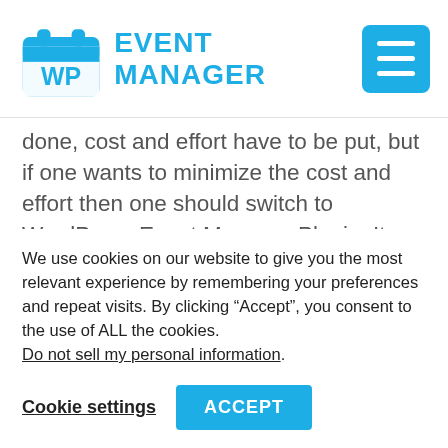WP EVENT MANAGER
done, cost and effort have to be put, but if one wants to minimize the cost and effort then one should switch to WordPress Event Manager Plugin. It has introduced a colors add-on to add different background colors to different Event Types and Categories.
We use cookies on our website to give you the most relevant experience by remembering your preferences and repeat visits. By clicking “Accept”, you consent to the use of ALL the cookies. Do not sell my personal information.
Cookie settings  ACCEPT